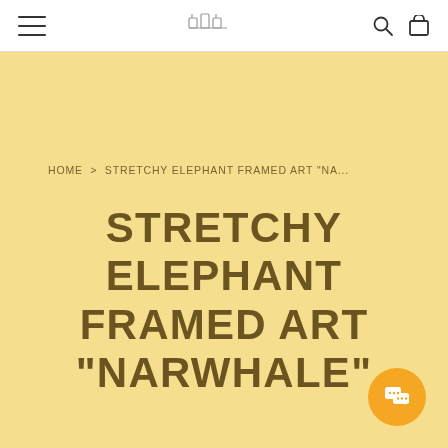HOME > STRETCHY ELEPHANT FRAMED ART "NA...
STRETCHY ELEPHANT FRAMED ART "NARWHALE"